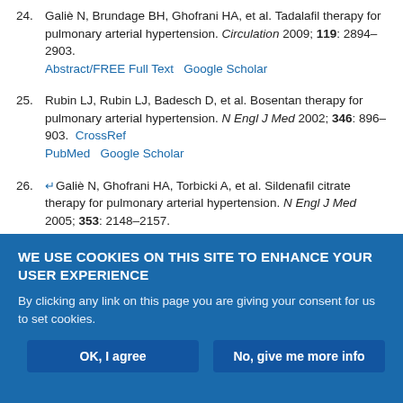24. Galiè N, Brundage BH, Ghofrani HA, et al. Tadalafil therapy for pulmonary arterial hypertension. Circulation 2009; 119: 2894–2903. Abstract/FREE Full Text  Google Scholar
25. Rubin LJ, Rubin LJ, Badesch D, et al. Bosentan therapy for pulmonary arterial hypertension. N Engl J Med 2002; 346: 896–903. CrossRef  PubMed  Google Scholar
26. ↵Galiè N, Ghofrani HA, Torbicki A, et al. Sildenafil citrate therapy for pulmonary arterial hypertension. N Engl J Med 2005; 353: 2148–2157. CrossRef  PubMed  Google Scholar
27. ↵Fritz JS, Blair C, Oudiz RJ, et al. Baseline and follow-up 6-min walk
WE USE COOKIES ON THIS SITE TO ENHANCE YOUR USER EXPERIENCE
By clicking any link on this page you are giving your consent for us to set cookies.